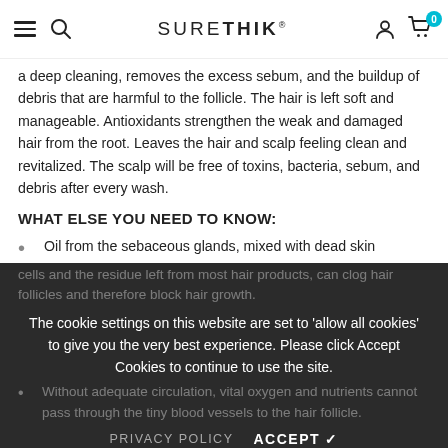SURETHIK | Navigation bar with hamburger menu, search, account, and cart (0 items)
a deep cleaning, removes the excess sebum, and the buildup of debris that are harmful to the follicle. The hair is left soft and manageable. Antioxidants strengthen the weak and damaged hair from the root. Leaves the hair and scalp feeling clean and revitalized. The scalp will be free of toxins, bacteria, sebum, and debris after every wash.
WHAT ELSE YOU NEED TO KNOW:
Oil from the sebaceous glands, mixed with dead skin cells and the residue left from most hair products, can clog hair follicles and therefore block hair growth.
Without adequate circulation, vital oxygen and nutrients cannot pass through the tiny blood vessels to the hair follicle.
The cookie settings on this website are set to 'allow all cookies' to give you the very best experience. Please click Accept Cookies to continue to use the site.
PRIVACY POLICY   ACCEPT ✔